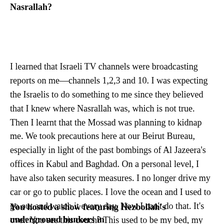Nasrallah?
I learned that Israeli TV channels were broadcasting reports on me—channels 1,2,3 and 10. I was expecting the Israelis to do something to me since they believed that I knew where Nasrallah was, which is not true. Then I learnt that the Mossad was planning to kidnap me. We took precautions here at our Beirut Bureau, especially in light of the past bombings of Al Jazeera's offices in Kabul and Baghdad. On a personal level, I have also taken security measures. I no longer drive my car or go to public places. I love the ocean and I used to go out and watch it every day. Now I can't do that. It's over. You see this couch? This used to be my bed, my living room. Take a picture of it. You know, I used to live in this office during the war. I ate one meal per day. I lost 15 kilos.
You hosted a show featuring Hezbollah's underground bunkers in